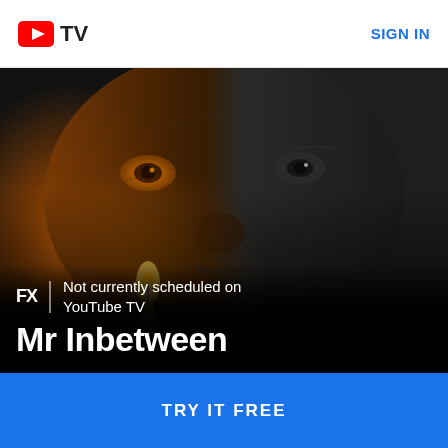[Figure (logo): YouTube TV logo with red play button icon and 'TV' text in black]
SIGN IN
[Figure (photo): Close-up dramatic face of a man, split between warm orange candlelight on the left side and dark monochrome on the right side, with a candle flame in the foreground]
FX
Not currently scheduled on YouTube TV
Mr Inbetween
TRY IT FREE